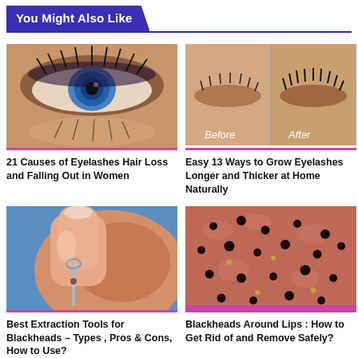You Might Also Like
[Figure (photo): Close-up of a blue eye with dramatic eyelashes and makeup, some lashes fallen on the cheek]
21 Causes of Eyelashes Hair Loss and Falling Out in Women
[Figure (photo): Before and after comparison of eyelashes, showing sparser lashes before and thicker lashes after treatment]
Easy 13 Ways to Grow Eyelashes Longer and Thicker at Home Naturally
[Figure (photo): Close-up of blackhead extraction tool being used on skin near nose]
Best Extraction Tools for Blackheads – Types , Pros & Cons, How to Use?
[Figure (photo): Close-up of skin with multiple blackheads and pores around lips area]
Blackheads Around Lips : How to Get Rid of and Remove Safely?